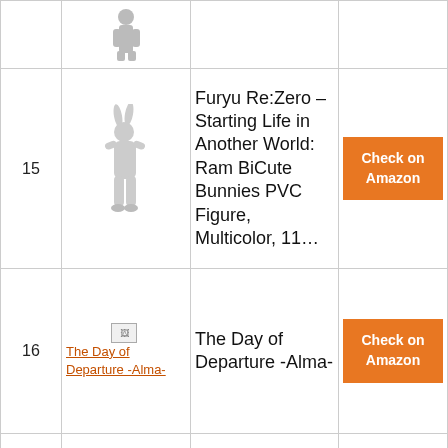| # | Image | Product | Link |
| --- | --- | --- | --- |
|  | [figurine image] |  |  |
| 15 | [Ram BiCute Bunnies figurine] | Furyu Re:Zero – Starting Life in Another World: Ram BiCute Bunnies PVC Figure, Multicolor, 11… | Check on Amazon |
| 16 | [The Day of Departure -Alma- image] | The Day of Departure -Alma- | Check on Amazon |
| 17 |  | Sega |  |